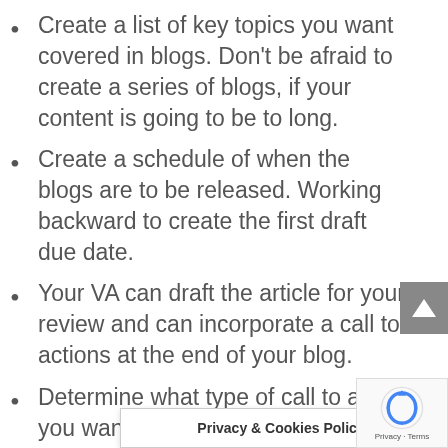Create a list of key topics you want covered in blogs. Don't be afraid to create a series of blogs, if your content is going to be to long.
Create a schedule of when the blogs are to be released. Working backward to create the first draft due date.
Your VA can draft the article for your review and can incorporate a call to actions at the end of your blog.
Determine what type of call to action you want from your audience. It is always good to encourage readers to comment, offer feedb…